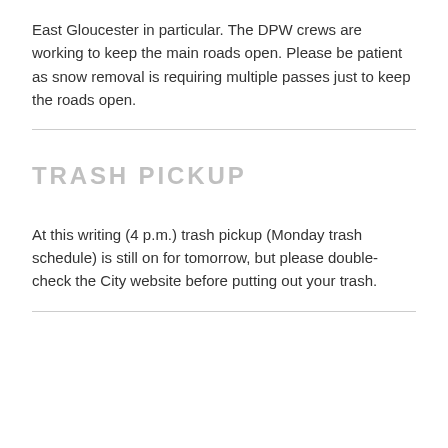East Gloucester in particular. The DPW crews are working to keep the main roads open. Please be patient as snow removal is requiring multiple passes just to keep the roads open.
TRASH PICKUP
At this writing (4 p.m.) trash pickup (Monday trash schedule) is still on for tomorrow, but please double-check the City website before putting out your trash.